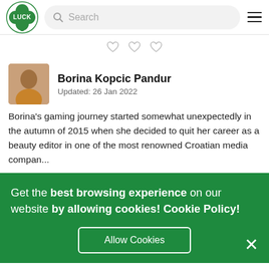Luck — Search
[Figure (illustration): Three small heart/card suit icons in a row, decorative divider]
Borina Kopcic Pandur
Updated: 26 Jan 2022
Borina's gaming journey started somewhat unexpectedly in the autumn of 2015 when she decided to quit her career as a beauty editor in one of the most renowned Croatian media compan...
Get the best browsing experience on our website by allowing cookies! Cookie Policy!
Allow Cookies